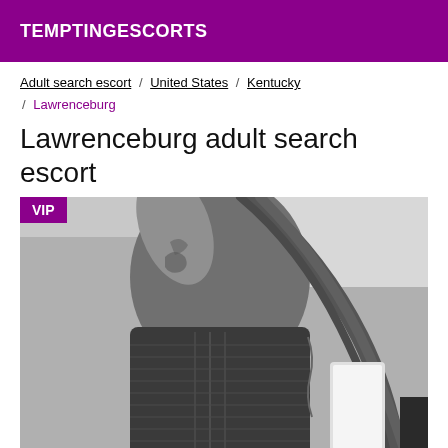TEMPTINGESCORTS
Adult search escort / United States / Kentucky / Lawrenceburg
Lawrenceburg adult search escort
[Figure (photo): Black and white photo of a person wearing a dark corset, viewed from behind/side, with long hair, holding a smartphone. A purple VIP badge overlays the top-left corner.]